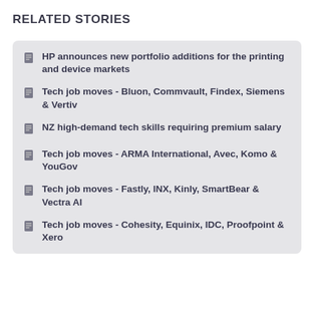RELATED STORIES
HP announces new portfolio additions for the printing and device markets
Tech job moves - Bluon, Commvault, Findex, Siemens & Vertiv
NZ high-demand tech skills requiring premium salary
Tech job moves - ARMA International, Avec, Komo & YouGov
Tech job moves - Fastly, INX, Kinly, SmartBear & Vectra AI
Tech job moves - Cohesity, Equinix, IDC, Proofpoint & Xero